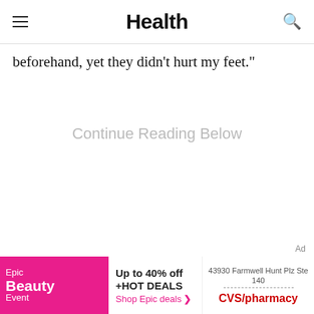Health
beforehand, yet they didn't hurt my feet."
Continue Reading Below
Ad
[Figure (other): Advertisement banner: Epic Beauty Event - Up to 40% off +HOT DEALS, Shop Epic deals. CVS/pharmacy at 43930 Farmwell Hunt Plz Ste 140.]